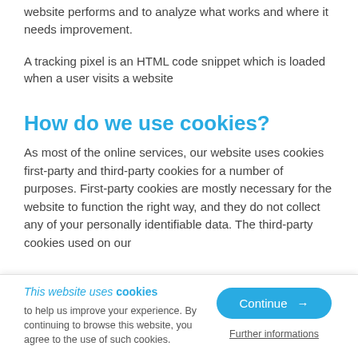website performs and to analyze what works and where it needs improvement.
A tracking pixel is an HTML code snippet which is loaded when a user visits a website
How do we use cookies?
As most of the online services, our website uses cookies first-party and third-party cookies for a number of purposes. First-party cookies are mostly necessary for the website to function the right way, and they do not collect any of your personally identifiable data. The third-party cookies used on our
This website uses cookies
to help us improve your experience. By continuing to browse this website, you agree to the use of such cookies.
Continue →
Further informations